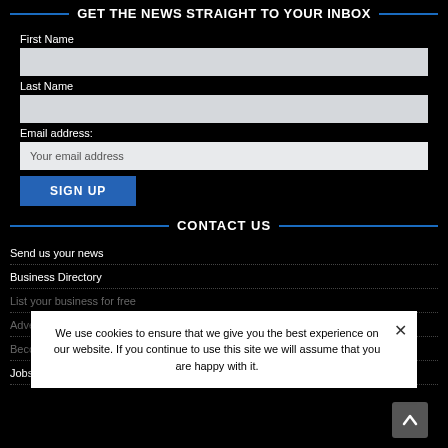GET THE NEWS STRAIGHT TO YOUR INBOX
First Name
Last Name
Email address:
Your email address
SIGN UP
CONTACT US
Send us your news
Business Directory
List your business for free
Advertise
Become a digital partner
Jobs
We use cookies to ensure that we give you the best experience on our website. If you continue to use this site we will assume that you are happy with it.